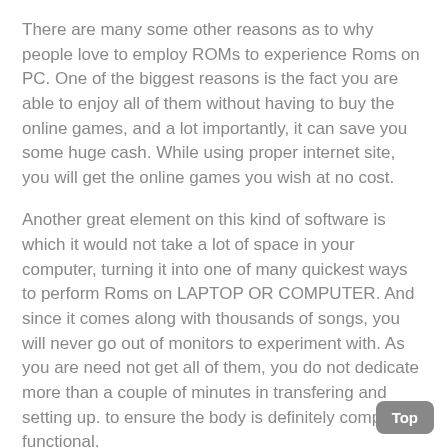There are many some other reasons as to why people love to employ ROMs to experience Roms on PC. One of the biggest reasons is the fact you are able to enjoy all of them without having to buy the online games, and a lot importantly, it can save you some huge cash. While using proper internet site, you will get the online games you wish at no cost.
Another great element on this kind of software is which it would not take a lot of space in your computer, turning it into one of many quickest ways to perform Roms on LAPTOP OR COMPUTER. And since it comes along with thousands of songs, you will never go out of monitors to experiment with. As you are need not get all of them, you do not dedicate more than a couple of minutes in transfering and setting up. to ensure the body is definitely completely functional.
If you wish to down load all of them and revel in them on your computer, endless frontier saga 2 then you can certainly likewise search the online world with respect to online games that you would like to experiment with. These sites are providing you numerous game titles from which to